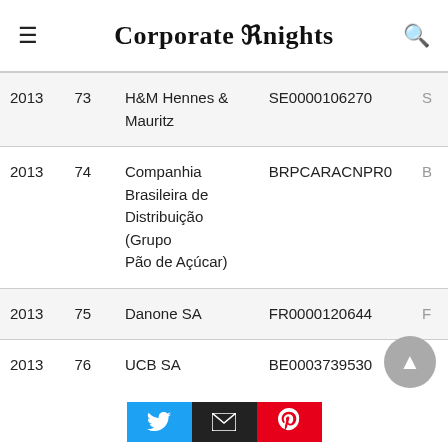Corporate Knights
| Year | Rank | Company | Code |  |
| --- | --- | --- | --- | --- |
| 2013 | 73 | H&M Hennes & Mauritz | SE0000106270 | S |
| 2013 | 74 | Companhia Brasileira de Distribuição (Grupo Pão de Açúcar) | BRPCARACNPR0 | B |
| 2013 | 75 | Danone SA | FR0000120644 | F |
| 2013 | 76 | UCB SA | BE0003739530 | B |
Twitter | Email | Pinterest